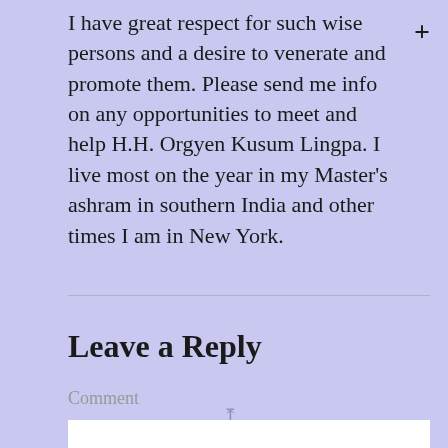I have great respect for such wise persons and a desire to venerate and promote them. Please send me info on any opportunities to meet and help H.H. Orgyen Kusum Lingpa. I live most on the year in my Master's ashram in southern India and other times I am in New York.
Leave a Reply
Comment